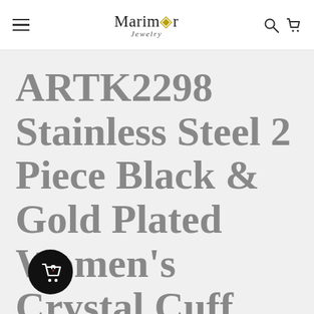Marimor Jewelry — navigation bar with hamburger menu, logo, search and cart icons
ARTK2298 Stainless Steel 2 Piece Black & Gold Plated Women's Crystal Cuff